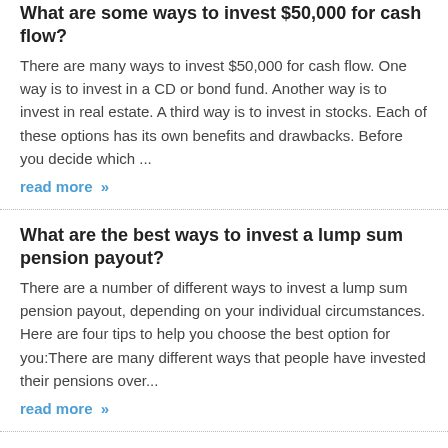What are some ways to invest $50,000 for cash flow?
There are many ways to invest $50,000 for cash flow. One way is to invest in a CD or bond fund. Another way is to invest in real estate. A third way is to invest in stocks. Each of these options has its own benefits and drawbacks. Before you decide which ...
read more »
What are the best ways to invest a lump sum pension payout?
There are a number of different ways to invest a lump sum pension payout, depending on your individual circumstances. Here are four tips to help you choose the best option for you:There are many different ways that people have invested their pensions over...
read more »
What are some good investments for generating